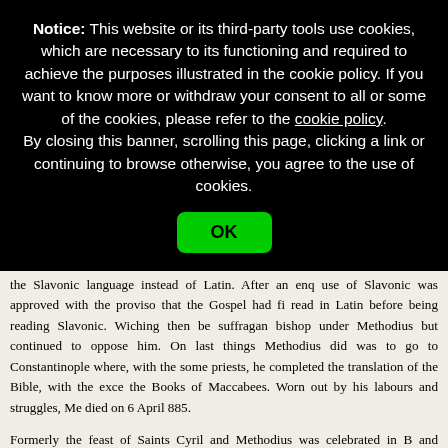Notice: This website or its third-party tools use cookies, which are necessary to its functioning and required to achieve the purposes illustrated in the cookie policy. If you want to know more or withdraw your consent to all or some of the cookies, please refer to the cookie policy. By closing this banner, scrolling this page, clicking a link or continuing to browse otherwise, you agree to the use of cookies.
OK
of Pope John VIII and reinstated. However, he was again called to R the allegations of a German priest, Wiching, who questioned his or and his use of the Slavonic language instead of Latin. After an enq use of Slavonic was approved with the proviso that the Gospel had fi read in Latin before being reading Slavonic. Wiching then be suffragan bishop under Methodius but continued to oppose him. On last things Methodius did was to go to Constantinople where, with the some priests, he completed the translation of the Bible, with the exce the Books of Maccabees. Worn out by his labours and struggles, Me died on 6 April 885.
Formerly the feast of Saints Cyril and Methodius was celebrated in B and Moravia on 9 March but Pope Pius IX changed the date to 5 Ju Leo XIII by his Encyclical Grande Munus of 30 September 1880, e the feast to the universal Church. On 1 October 1909, SS